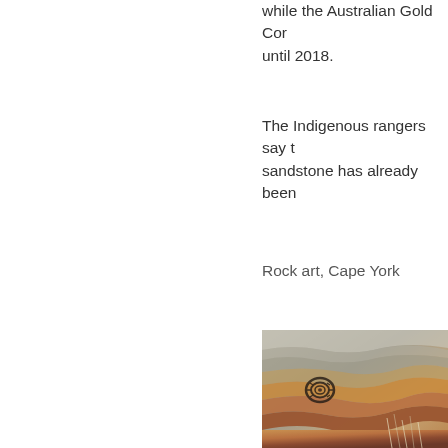while the Australian Gold Corporation until 2018.
The Indigenous rangers say the sandstone has already been
Rock art, Cape York
[Figure (photo): Close-up photograph of rock art on sandstone at Cape York, showing textured layered rock surface with swirling patterns in shades of grey, orange, brown and red, with a small spiral/ammonite-like marking visible.]